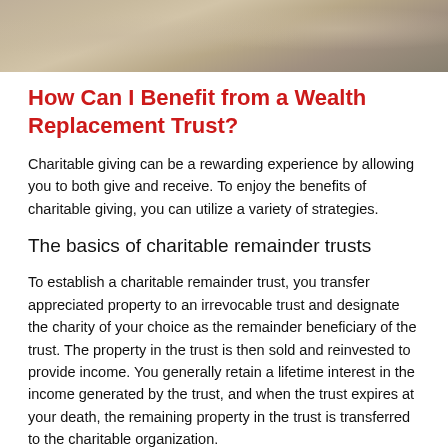[Figure (photo): Photo of elderly people at a table, possibly playing chess or a board game]
How Can I Benefit from a Wealth Replacement Trust?
Charitable giving can be a rewarding experience by allowing you to both give and receive. To enjoy the benefits of charitable giving, you can utilize a variety of strategies.
The basics of charitable remainder trusts
To establish a charitable remainder trust, you transfer appreciated property to an irrevocable trust and designate the charity of your choice as the remainder beneficiary of the trust. The property in the trust is then sold and reinvested to provide income. You generally retain a lifetime interest in the income generated by the trust, and when the trust expires at your death, the remaining property in the trust is transferred to the charitable organization.